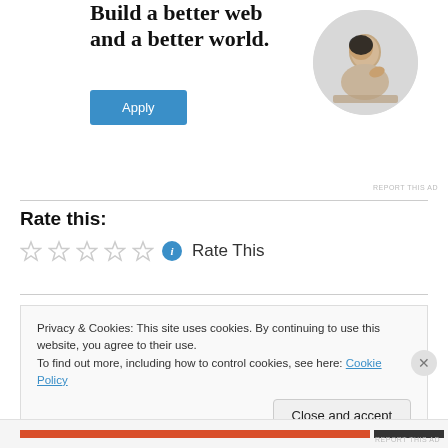[Figure (illustration): Advertisement banner with bold serif text 'Build a better web and a better world.' with a blue Apply button and a circular photo of a man thinking/studying at a desk]
REPORT THIS AD
Rate this:
[Figure (other): Five empty star rating icons followed by a blue info icon and text 'Rate This']
Privacy & Cookies: This site uses cookies. By continuing to use this website, you agree to their use.
To find out more, including how to control cookies, see here: Cookie Policy
Close and accept